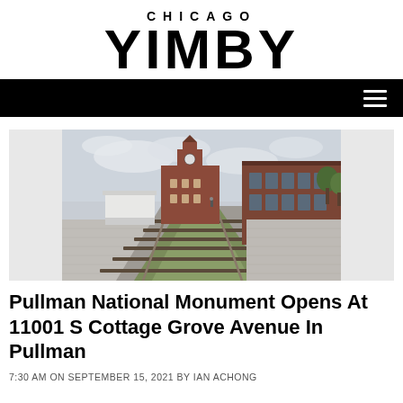CHICAGO YIMBY
[Figure (screenshot): Chicago YIMBY website navigation bar with black background and hamburger menu icon on the right]
[Figure (photo): Photograph of Pullman National Monument showing railroad tracks with plantings, a red brick clock tower building in the background, and brick industrial buildings on the right, under a cloudy sky]
Pullman National Monument Opens At 11001 S Cottage Grove Avenue In Pullman
7:30 AM ON SEPTEMBER 15, 2021 BY IAN ACHONG